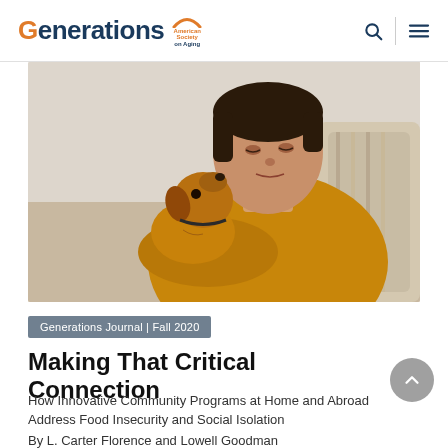Generations | American Society on Aging
[Figure (photo): Elderly Asian woman in a mustard/orange sweater holding and looking at a small brown Chihuahua dog, light background]
Generations Journal | Fall 2020
Making That Critical Connection
How Innovative Community Programs at Home and Abroad Address Food Insecurity and Social Isolation
By L. Carter Florence and Lowell Goodman